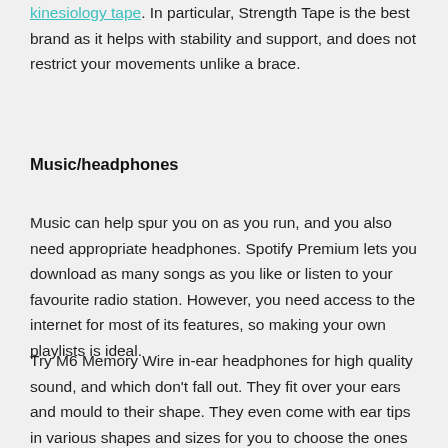kinesiology tape. In particular, Strength Tape is the best brand as it helps with stability and support, and does not restrict your movements unlike a brace.
Music/headphones
Music can help spur you on as you run, and you also need appropriate headphones. Spotify Premium lets you download as many songs as you like or listen to your favourite radio station. However, you need access to the internet for most of its features, so making your own playlists is ideal.
Try M6 Memory Wire in-ear headphones for high quality sound, and which don't fall out. They fit over your ears and mould to their shape. They even come with ear tips in various shapes and sizes for you to choose the ones